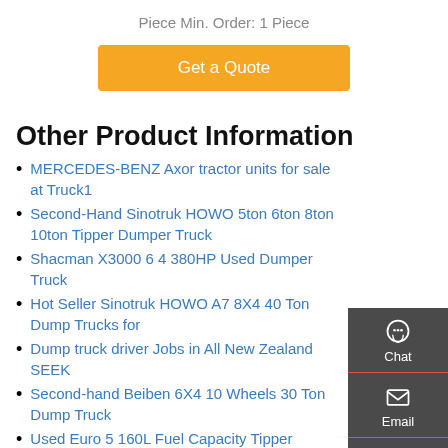Piece Min. Order: 1 Piece
Get a Quote
Other Product Information
MERCEDES-BENZ Axor tractor units for sale at Truck1
Second-Hand Sinotruk HOWO 5ton 6ton 8ton 10ton Tipper Dumper Truck
Shacman X3000 6 4 380HP Used Dumper Truck
Hot Seller Sinotruk HOWO A7 8X4 40 Ton Dump Trucks for
Dump truck driver Jobs in All New Zealand SEEK
Second-hand Beiben 6X4 10 Wheels 30 Ton Dump Truck
Used Euro 5 160L Fuel Capacity Tipper Tipper Truck Price
sinotruk korea dump truck Alibaba
Second-hand Truck and Trailer Tipper Valves
Second-hand for Semi-Tipper Truck